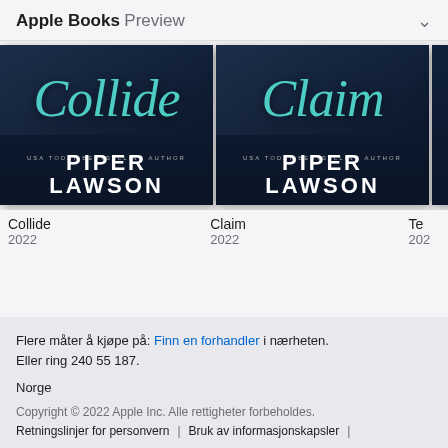Apple Books Preview
[Figure (illustration): Book cover for 'Collide' by Piper Lawson – dark background with teal script title and white bold author name]
[Figure (illustration): Book cover for 'Claim' by Piper Lawson – dark background with teal script title and white bold author name]
[Figure (illustration): Partially visible third book cover]
Collide
2022
Claim
2022
Te
202
Flere måter å kjøpe på: Finn en forhandler i nærheten.
Eller ring 240 55 187.
Norge
Copyright © 2022 Apple Inc. Alle rettigheter forbeholdes.
Retningslinjer for personvern | Bruk av informasjonskapsler